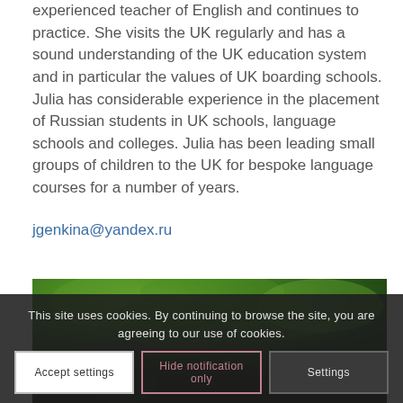experienced teacher of English and continues to practice. She visits the UK regularly and has a sound understanding of the UK education system and in particular the values of UK boarding schools. Julia has considerable experience in the placement of Russian students in UK schools, language schools and colleges. Julia has been leading small groups of children to the UK for bespoke language courses for a number of years.
jgenkina@yandex.ru
[Figure (photo): Partial outdoor photo showing green foliage/trees from above, with dark shadows at the bottom. A person with a hat is partially visible.]
This site uses cookies. By continuing to browse the site, you are agreeing to our use of cookies.